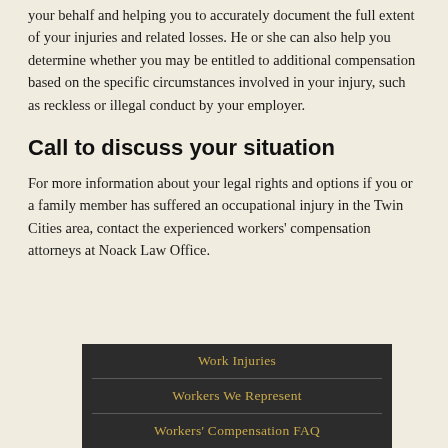your behalf and helping you to accurately document the full extent of your injuries and related losses. He or she can also help you determine whether you may be entitled to additional compensation based on the specific circumstances involved in your injury, such as reckless or illegal conduct by your employer.
Call to discuss your situation
For more information about your legal rights and options if you or a family member has suffered an occupational injury in the Twin Cities area, contact the experienced workers' compensation attorneys at Noack Law Office.
[Figure (infographic): Dark box with gold text menu items: Work Injuries, Workers We Represent, Workers' Compensation FAQ, separated by horizontal dividers]